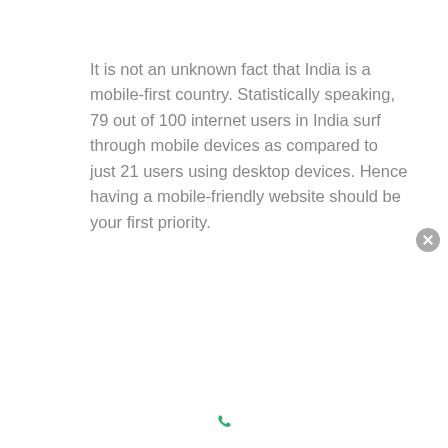It is not an unknown fact that India is a mobile-first country. Statistically speaking, 79 out of 100 internet users in India surf through mobile devices as compared to just 21 users using desktop devices. Hence having a mobile-friendly website should be your first priority.
[Figure (screenshot): Screenshot of a website with colored social sharing bands (dark blue, medium blue, red, green) and a chat popup from Deep Mehta, Co-Founder of DigiChefs with a circular avatar and green online indicator dot, plus a close button. Pinterest and WhatsApp icons visible on the bands.]